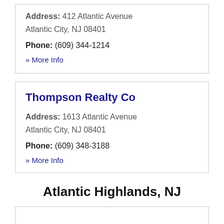Address: 412 Atlantic Avenue Atlantic City, NJ 08401
Phone: (609) 344-1214
» More Info
Thompson Realty Co
Address: 1613 Atlantic Avenue Atlantic City, NJ 08401
Phone: (609) 348-3188
» More Info
Atlantic Highlands, NJ